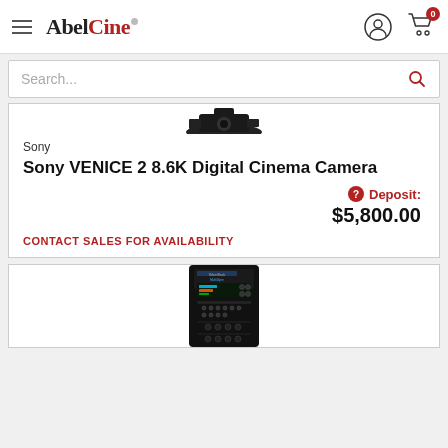AbelCine
Search...
[Figure (photo): Partial view of Sony VENICE 2 camera silhouette from above]
Sony
Sony VENICE 2 8.6K Digital Cinema Camera
Deposit: $5,800.00
CONTACT SALES FOR AVAILABILITY
[Figure (photo): Black device - SilverBack by MultiDyne, a rack-mount fiber optic device with buttons and display]